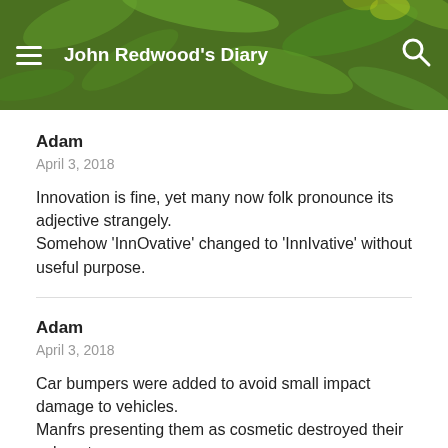John Redwood's Diary
Adam
April 3, 2018
Innovation is fine, yet many now folk pronounce its adjective strangely.
Somehow 'InnOvative' changed to 'InnIvative' without useful purpose.
Adam
April 3, 2018
Car bumpers were added to avoid small impact damage to vehicles.
Manfrs presenting them as cosmetic destroyed their value at